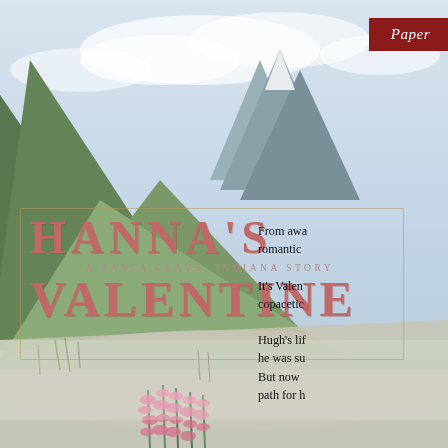[Figure (illustration): Scenic Alaskan landscape background with mountains, lake/river, green meadows, cloudy sky, and pink wildflowers in the foreground]
Paper
HANNA'S
A SANTA CLAUS, INDIANA STORY
VALENTINE
From awa romantic
It's Valen copacetic
Hugh's lif he was su But now path for h